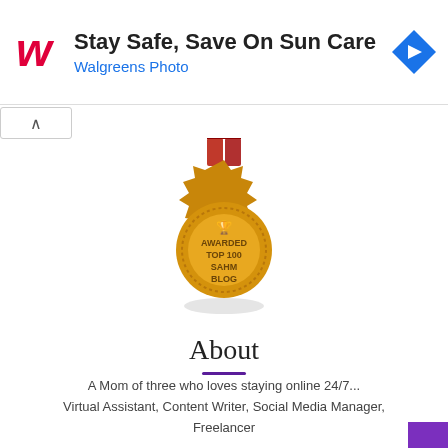[Figure (screenshot): Walgreens advertisement banner: Walgreens cursive logo in red on left, text 'Stay Safe, Save On Sun Care' in bold and 'Walgreens Photo' in blue below, blue diamond navigation arrow icon on right]
[Figure (illustration): Gold award medal badge with red ribbon at top. Text on medal reads 'AWARDED TOP 100 SAHM BLOG' with a trophy icon above the text. Badge has a starburst/gear shape outline.]
About
A Mom of three who loves staying online 24/7... Virtual Assistant, Content Writer, Social Media Manager, Freelancer